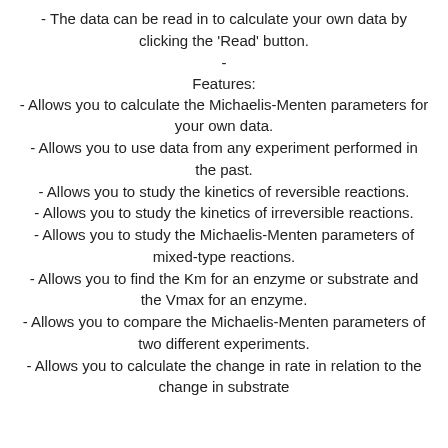- The data can be read in to calculate your own data by clicking the 'Read' button.
-
Features:
- Allows you to calculate the Michaelis-Menten parameters for your own data.
- Allows you to use data from any experiment performed in the past.
- Allows you to study the kinetics of reversible reactions.
- Allows you to study the kinetics of irreversible reactions.
- Allows you to study the Michaelis-Menten parameters of mixed-type reactions.
- Allows you to find the Km for an enzyme or substrate and the Vmax for an enzyme.
- Allows you to compare the Michaelis-Menten parameters of two different experiments.
- Allows you to calculate the change in rate in relation to the change in substrate